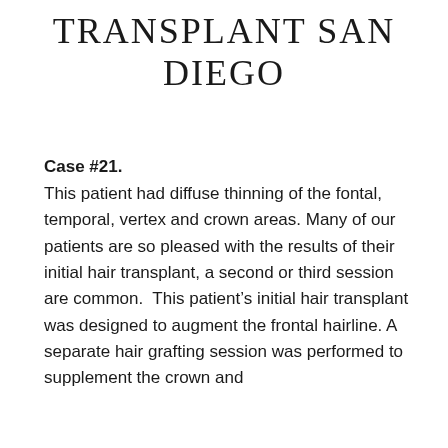TRANSPLANT SAN DIEGO
Case #21.
This patient had diffuse thinning of the fontal, temporal, vertex and crown areas. Many of our patients are so pleased with the results of their initial hair transplant, a second or third session are common.  This patient’s initial hair transplant was designed to augment the frontal hairline. A separate hair grafting session was performed to supplement the crown and